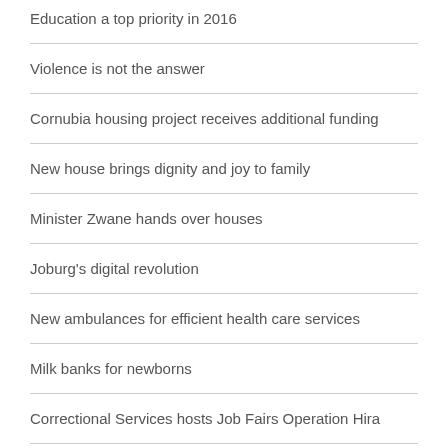Education a top priority in 2016
Violence is not the answer
Cornubia housing project receives additional funding
New house brings dignity and joy to family
Minister Zwane hands over houses
Joburg's digital revolution
New ambulances for efficient health care services
Milk banks for newborns
Correctional Services hosts Job Fairs Operation Hira
Jobs: Department of Correctional Services Nov 2015
Jobs: Justice and Constitutional Development Nov 2015
Agri-parks to breathe life into rural SA